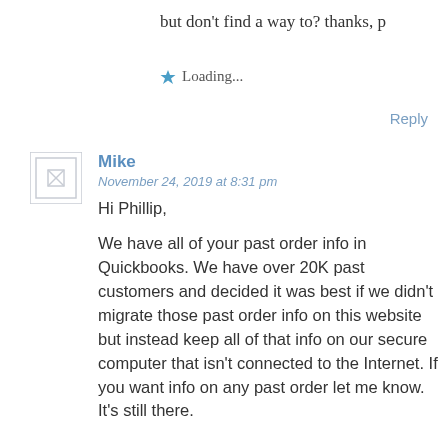but don't find a way to? thanks, p
Loading...
Reply
Mike
November 24, 2019 at 8:31 pm
Hi Phillip,

We have all of your past order info in Quickbooks. We have over 20K past customers and decided it was best if we didn't migrate those past order info on this website but instead keep all of that info on our secure computer that isn't connected to the Internet. If you want info on any past order let me know. It's still there.